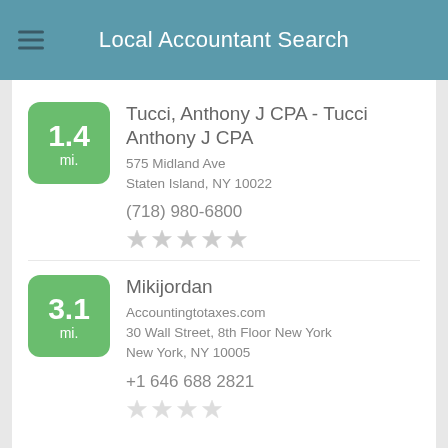Local Accountant Search
1.4 mi. Tucci, Anthony J CPA - Tucci Anthony J CPA
575 Midland Ave
Staten Island, NY 10022
(718) 980-6800
3.1 mi. Mikijordan
Accountingtotaxes.com
30 Wall Street, 8th Floor New York
New York, NY 10005
+1 646 688 2821